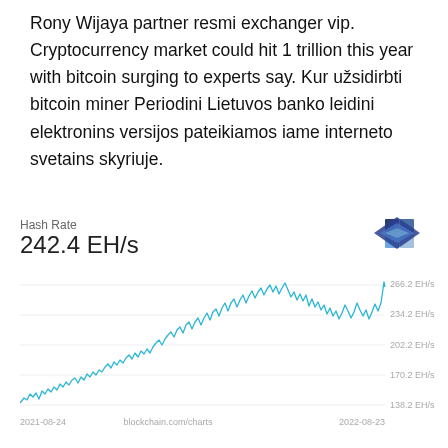Rony Wijaya partner resmi exchanger vip. Cryptocurrency market could hit 1 trillion this year with bitcoin surging to experts say. Kur užsidirbti bitcoin miner Periodini Lietuvos banko leidini elektronins versijos pateikiamos iame interneto svetains skyriuje.
[Figure (continuous-plot): Bitcoin Hash Rate line chart from 2021-08-24 to 2022-08-23, showing growth from approximately 138 EH/s to peaks around 266 EH/s, with current value 242.4 EH/s. Y-axis labels: 266.2 EH/s, 234.2 EH/s, 202.2 EH/s, 170.2 EH/s, 138.2 EH/s. Source: blockchain.com/charts]